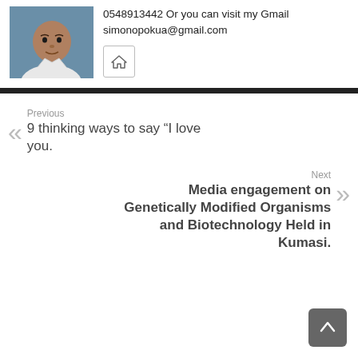[Figure (photo): Profile photo of a young man in white attire against a blue background]
0548913442 Or you can visit my Gmail simonopokua@gmail.com
[Figure (other): Home icon button]
Previous
9 thinking ways to say “I love you.
Next
Media engagement on Genetically Modified Organisms and Biotechnology Held in Kumasi.